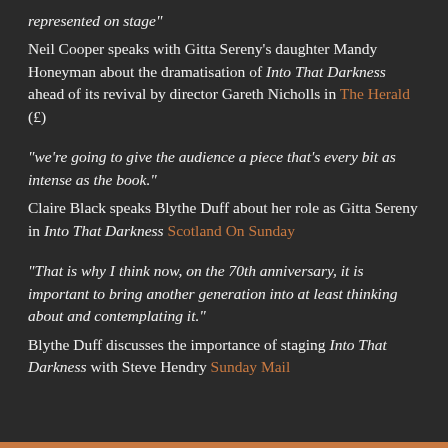represented on stage"
Neil Cooper speaks with Gitta Sereny's daughter Mandy Honeyman about the dramatisation of Into That Darkness ahead of its revival by director Gareth Nicholls in The Herald (£)
"we're going to give the audience a piece that's every bit as intense as the book."
Claire Black speaks Blythe Duff about her role as Gitta Sereny in Into That Darkness Scotland On Sunday
"That is why I think now, on the 70th anniversary, it is important to bring another generation into at least thinking about and contemplating it."
Blythe Duff discusses the importance of staging Into That Darkness with Steve Hendry Sunday Mail